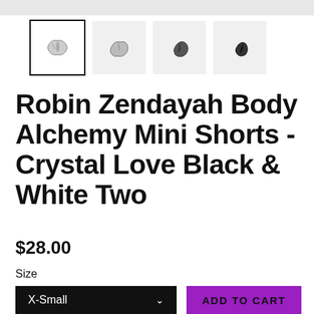[Figure (photo): Four thumbnail images of Robin Zendayah Body Alchemy Mini Shorts in Crystal Love Black & White Two colorway, showing product from different angles.]
Robin Zendayah Body Alchemy Mini Shorts - Crystal Love Black & White Two
$28.00
Size
X-Small
ADD TO CART